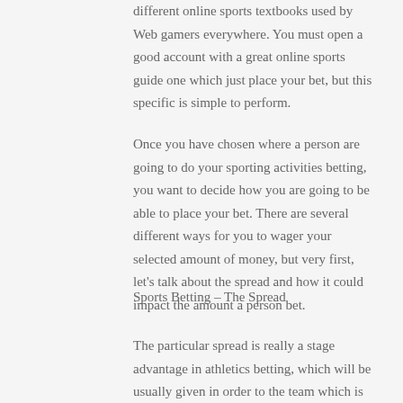different online sports textbooks used by Web gamers everywhere. You must open a good account with a great online sports guide one which just place your bet, but this specific is simple to perform.
Once you have chosen where a person are going to do your sporting activities betting, you want to decide how you are going to be able to place your bet. There are several different ways for you to wager your selected amount of money, but very first, let's talk about the spread and how it could impact the amount a person bet.
Sports Betting – The Spread
The particular spread is really a stage advantage in athletics betting, which will be usually given in order to the team which is generally expected in